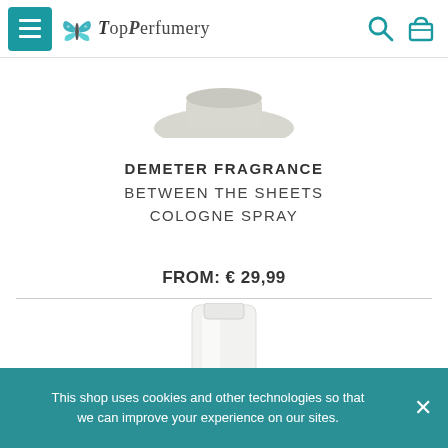[Figure (logo): TopPerfumery website header with hamburger menu icon, butterfly logo, search icon and shopping cart icon]
[Figure (photo): Top portion of a perfume bottle (white/silver cap visible at top)]
DEMETER FRAGRANCE
BETWEEN THE SHEETS
COLOGNE SPRAY
FROM: € 29,99
[Figure (photo): Bottom portion of a perfume bottle (white cylindrical bottle visible)]
This shop uses cookies and other technologies so that we can improve your experience on our sites.